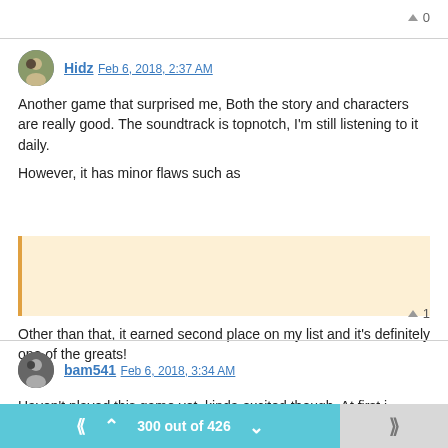▲ 0
Hidz Feb 6, 2018, 2:37 AM
Another game that surprised me, Both the story and characters are really good. The soundtrack is topnotch, I'm still listening to it daily.

However, it has minor flaws such as
[Figure (other): Quoted/highlighted block in pale orange with left orange border, content redacted/blank]
Other than that, it earned second place on my list and it's definitely one of the greats!
▲ 1
bam541 Feb 6, 2018, 3:34 AM
Haven't played this game yet, kinda excited though. At first i wasn't
300 out of 426